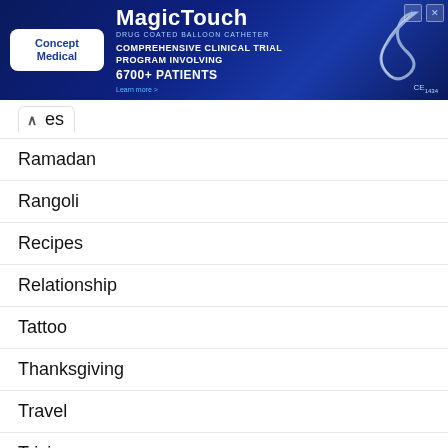[Figure (infographic): MagicTouch advertisement banner by Concept Medical. Dark blue background with text: Comprehensive Clinical Trial Program Involving 6700+ Patients. CE1434 mark.]
es
Ramadan
Rangoli
Recipes
Relationship
Tattoo
Thanksgiving
Travel
Trivia
Uncategorized
Valentines Day